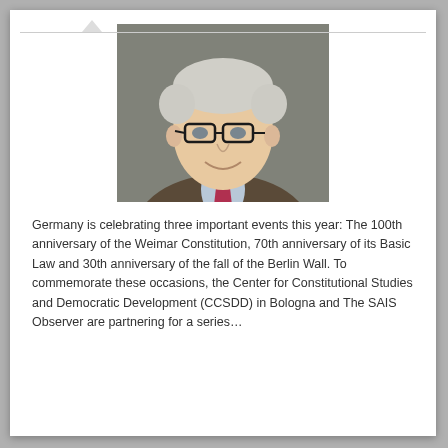[Figure (photo): Portrait photo of an elderly man with white hair and dark-rimmed glasses, wearing a brown jacket, light blue shirt, and red/pink tie, smiling, against a grey background.]
Germany is celebrating three important events this year: The 100th anniversary of the Weimar Constitution, 70th anniversary of its Basic Law and 30th anniversary of the fall of the Berlin Wall. To commemorate these occasions, the Center for Constitutional Studies and Democratic Development (CCSDD) in Bologna and The SAIS Observer are partnering for a series…